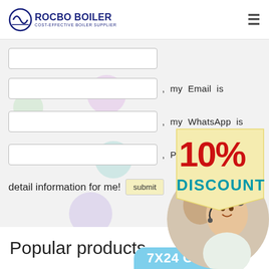ROCBO BOILER — COST-EFFECTIVE BOILER SUPPLIER
[Figure (screenshot): Website contact form with three text input fields. Beside the inputs are labels: ', my Email is', ', my WhatsApp is', ', Please Send the detail information for me!' with a submit button.]
[Figure (infographic): 10% DISCOUNT promotional badge in red and teal text on a cream/yellow background shape.]
[Figure (photo): Customer service representative wearing a headset, smiling. Two people visible.]
Popular products
7X24 Online